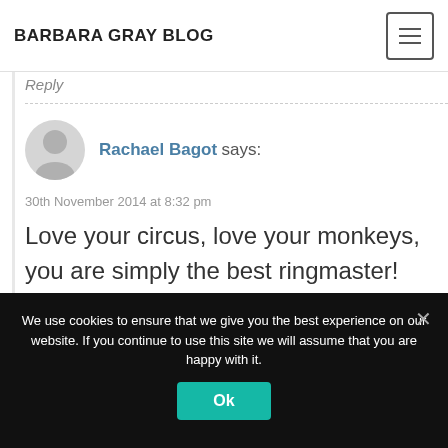BARBARA GRAY BLOG
Reply
Rachael Bagot says:
30th November 2014 at 8:32 pm
Love your circus, love your monkeys, you are simply the best ringmaster!
We use cookies to ensure that we give you the best experience on our website. If you continue to use this site we will assume that you are happy with it.